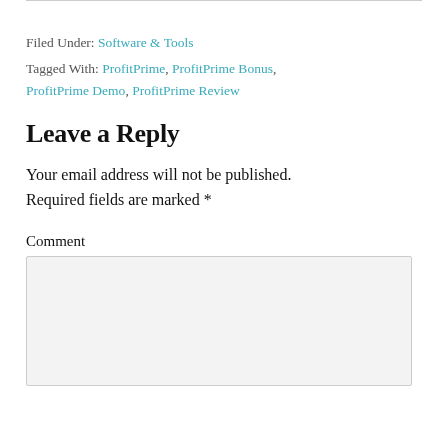Filed Under: Software & Tools
Tagged With: ProfitPrime, ProfitPrime Bonus, ProfitPrime Demo, ProfitPrime Review
Leave a Reply
Your email address will not be published. Required fields are marked *
Comment